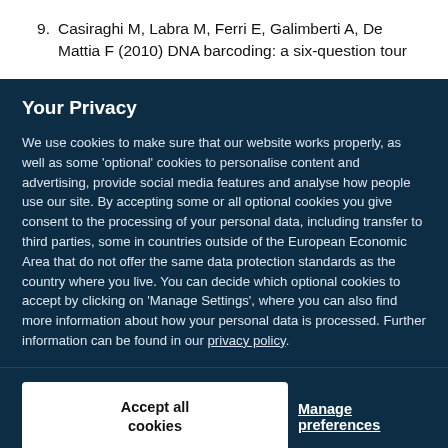9. Casiraghi M, Labra M, Ferri E, Galimberti A, De Mattia F (2010) DNA barcoding: a six-question tour
Your Privacy
We use cookies to make sure that our website works properly, as well as some ‘optional’ cookies to personalise content and advertising, provide social media features and analyse how people use our site. By accepting some or all optional cookies you give consent to the processing of your personal data, including transfer to third parties, some in countries outside of the European Economic Area that do not offer the same data protection standards as the country where you live. You can decide which optional cookies to accept by clicking on ‘Manage Settings’, where you can also find more information about how your personal data is processed. Further information can be found in our privacy policy.
Accept all cookies
Manage preferences